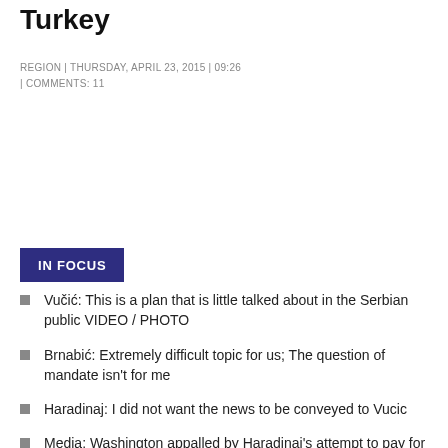Turkey
REGION | THURSDAY, APRIL 23, 2015 | 09:26 | COMMENTS: 11
IN FOCUS
Vučić: This is a plan that is little talked about in the Serbian public VIDEO / PHOTO
Brnabić: Extremely difficult topic for us; The question of mandate isn't for me
Haradinaj: I did not want the news to be conveyed to Vucic
Media: Washington appalled by Haradinaj's attempt to pay for